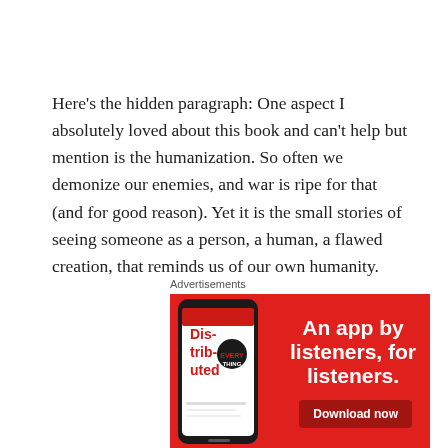Here's the hidden paragraph: One aspect I absolutely loved about this book and can't help but mention is the humanization. So often we demonize our enemies, and war is ripe for that (and for good reason). Yet it is the small stories of seeing someone as a person, a human, a flawed creation, that reminds us of our own humanity.
Advertisements
[Figure (illustration): Advertisement banner on red background showing a smartphone with a podcast app displaying 'Dis-trib-uted' text and a logo, with the text 'An app by listeners, for listeners.' and a 'Download now' dark red button.]